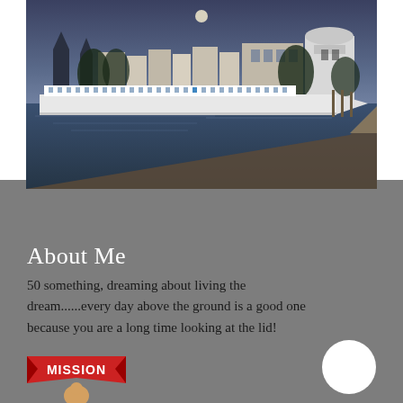[Figure (photo): A river cruise ship docked along a European city waterfront at dusk. Historic buildings, church spires, and a white cylindrical tower visible in the background under a twilight sky with a visible moon.]
About Me
50 something, dreaming about living the dream......every day above the ground is a good one because you are a long time looking at the lid!
[Figure (logo): A red banner badge graphic with the word MISSION and a partial figure below it.]